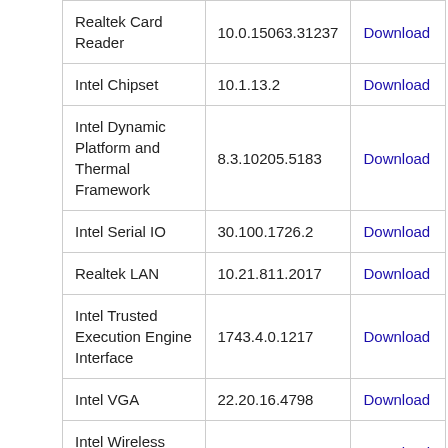|  |  |  |
| --- | --- | --- |
| Realtek Card Reader | 10.0.15063.31237 | Download |
| Intel Chipset | 10.1.13.2 | Download |
| Intel Dynamic Platform and Thermal Framework | 8.3.10205.5183 | Download |
| Intel Serial IO | 30.100.1726.2 | Download |
| Realtek LAN | 10.21.811.2017 | Download |
| Intel Trusted Execution Engine Interface | 1743.4.0.1217 | Download |
| Intel VGA | 22.20.16.4798 | Download |
| Intel Wireless LAN | 20.10.2 | Download |
| Atheros Wireless LAN | 11.0.10454 | Download |